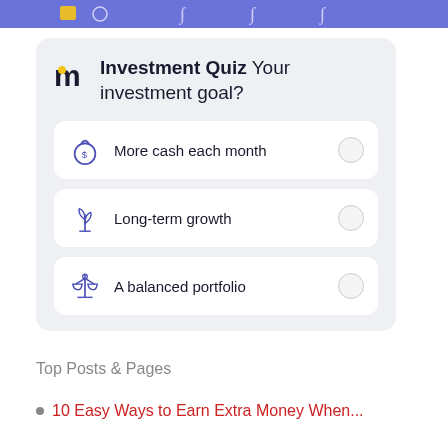[Figure (infographic): Blue header bar at top of page, partially visible, showing navigation icons]
[Figure (infographic): Investment Quiz card with logo, title 'Investment Quiz Your investment goal?' and three radio options: More cash each month, Long-term growth, A balanced portfolio]
Top Posts & Pages
10 Easy Ways to Earn Extra Money When...